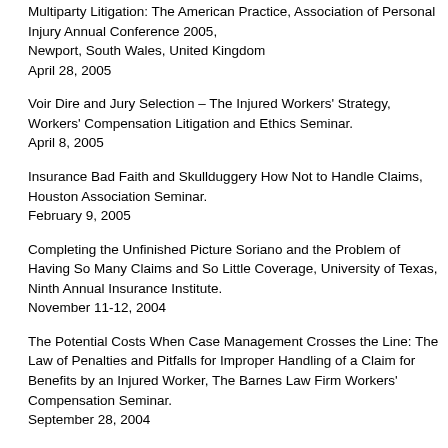Multiparty Litigation: The American Practice, Association of Personal Injury Annual Conference 2005, Newport, South Wales, United Kingdom April 28, 2005
Voir Dire and Jury Selection – The Injured Workers' Strategy, Workers' Compensation Litigation and Ethics Seminar. April 8, 2005
Insurance Bad Faith and Skullduggery How Not to Handle Claims, Houston Association Seminar. February 9, 2005
Completing the Unfinished Picture Soriano and the Problem of Having So Many Claims and So Little Coverage, University of Texas, Ninth Annual Insurance Institute. November 11-12, 2004
The Potential Costs When Case Management Crosses the Line: The Law of Penalties and Pitfalls for Improper Handling of a Claim for Benefits by an Injured Worker, The Barnes Law Firm Workers' Compensation Seminar. September 28, 2004
Hon. Sarah Vance, Kathleen Charvet, and Jeffrey Raizner, Recent Developments in Maritime law, 21st New Orleans Fall Maritime Law Seminar, Tulane University. October 2-3, 2003
The Potential Costs When Case Management Crosses the Line: The Law of Penalties and Pitfalls for Improper Handling of a Claim for Benefits by an In…